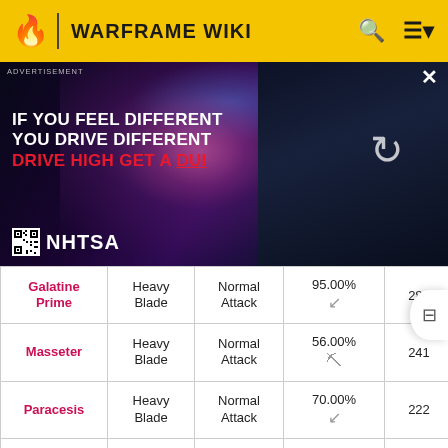WARFRAME WIKI
[Figure (photo): NHTSA advertisement: 'IF YOU FEEL DIFFERENT YOU DRIVE DIFFERENT DRIVE HIGH GET A DUI' with a man under purple/pink lighting, dark figure on right, NHTSA logo at bottom left. Close button (X) top right, refresh icon center right.]
| Name | Type | Attack | Crit % | Damage |
| --- | --- | --- | --- | --- |
| Galatine Prime | Heavy Blade | Normal Attack | 95.00% | 280 |
| Masseter | Heavy Blade | Normal Attack | 56.00% | 241 |
| Paracesis | Heavy Blade | Normal Attack | 70.00% | 222 |
| Zenistar | Heavy Blade | Normal Attack | 50.34% | 298 |